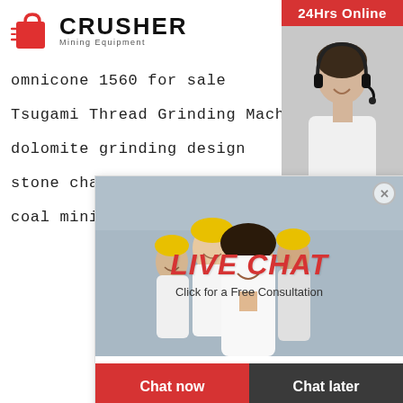[Figure (logo): Crusher Mining Equipment logo with red shopping bag icon and bold CRUSHER text]
omnicone 1560 for sale
Tsugami Thread Grinding Machine
dolomite grinding design
stone chamfering machine germany china
coal mining c...
[Figure (screenshot): Live Chat popup overlay with workers photo, LIVE CHAT title in red italic, Click for a Free Consultation subtitle, Chat now (red) and Chat later (dark) buttons]
[Figure (infographic): Right sidebar with 24Hrs Online header, customer service photo, Need questions & suggestion? text, Chat Now button, Enquiry link, limingjlmofen@sina.com email]